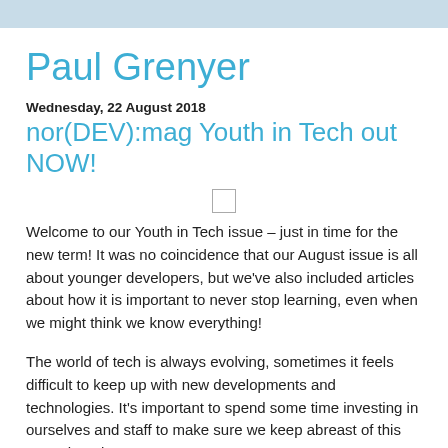Paul Grenyer
Wednesday, 22 August 2018
nor(DEV):mag Youth in Tech out NOW!
[Figure (other): Small image placeholder/thumbnail]
Welcome to our Youth in Tech issue – just in time for the new term! It was no coincidence that our August issue is all about younger developers, but we've also included articles about how it is important to never stop learning, even when we might think we know everything!
The world of tech is always evolving, sometimes it feels difficult to keep up with new developments and technologies. It's important to spend some time investing in ourselves and staff to make sure we keep abreast of this ever-changing